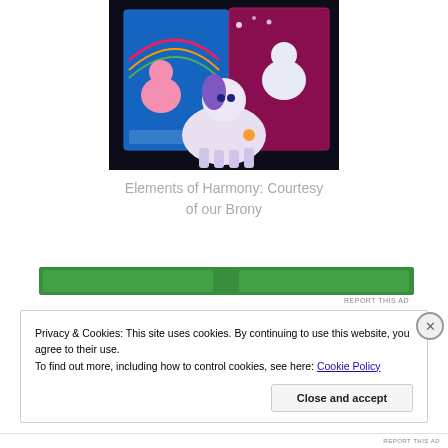[Figure (photo): My Little Pony themed photo showing a plush toy pony figure in front of two MLP children's books on a dark background]
Elements of Harmony: Courtesy of our Brony
[Figure (other): Green advertisement banner bar]
REPORT THIS AD
Privacy & Cookies: This site uses cookies. By continuing to use this website, you agree to their use.
To find out more, including how to control cookies, see here: Cookie Policy
Close and accept
REPORT THIS AD